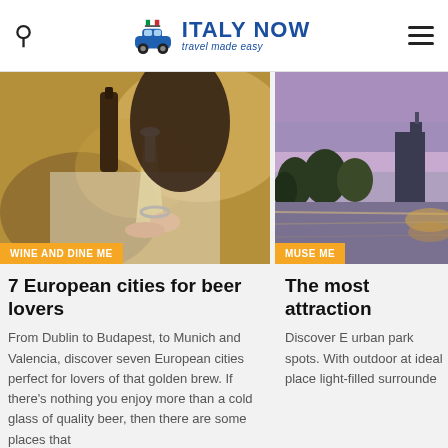ITALY NOW — travel made easy
[Figure (photo): Woman pouring beer from a bottle into a wine glass outdoors]
WINE AND DINE ME
7 European cities for beer lovers
From Dublin to Budapest, to Munich and Valencia, discover seven European cities perfect for lovers of that golden brew. If there's nothing you enjoy more than a cold glass of quality beer, then there are some places that
[Figure (photo): Urban park with lake at dusk with purple sky and city buildings reflected in water]
MUSE ME
The most attraction
Discover E urban park spots. With outdoor at ideal place light-filled surrounde